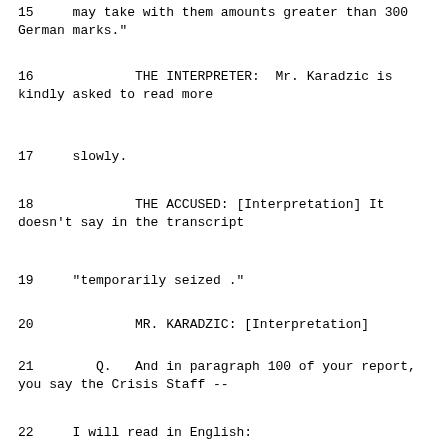15     may take with them amounts greater than 300 German marks."
16             THE INTERPRETER:  Mr. Karadzic is kindly asked to read more
17     slowly.
18             THE ACCUSED: [Interpretation] It doesn't say in the transcript
19     "temporarily seized ."
20             MR. KARADZIC: [Interpretation]
21        Q.   And in paragraph 100 of your report, you say the Crisis Staff --
22     I will read in English: